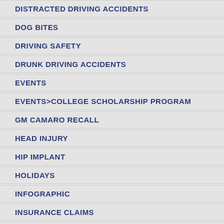DISTRACTED DRIVING ACCIDENTS
DOG BITES
DRIVING SAFETY
DRUNK DRIVING ACCIDENTS
EVENTS
EVENTS>COLLEGE SCHOLARSHIP PROGRAM
GM CAMARO RECALL
HEAD INJURY
HIP IMPLANT
HOLIDAYS
INFOGRAPHIC
INSURANCE CLAIMS
LIFE INSURANCE BENEFIT CLAIMS